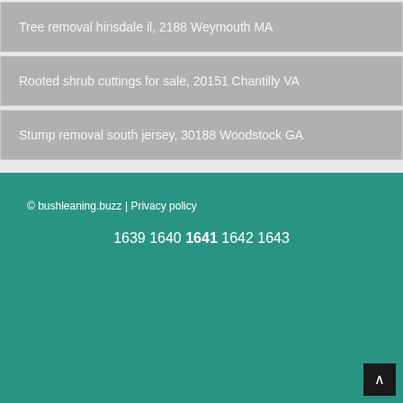Tree removal hinsdale il, 2188 Weymouth MA
Rooted shrub cuttings for sale, 20151 Chantilly VA
Stump removal south jersey, 30188 Woodstock GA
© bushleaning.buzz | Privacy policy
1639 1640 1641 1642 1643